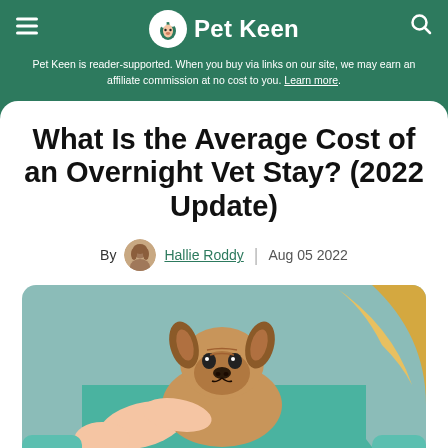Pet Keen
Pet Keen is reader-supported. When you buy via links on our site, we may earn an affiliate commission at no cost to you. Learn more.
What Is the Average Cost of an Overnight Vet Stay? (2022 Update)
By Hallie Roddy | Aug 05 2022
[Figure (photo): A veterinarian in teal scrubs holding a French bulldog puppy]